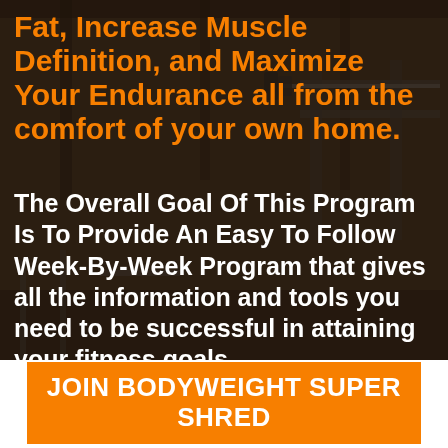[Figure (photo): Dark gym background with exercise equipment (barbells, racks), overlaid with semi-transparent dark tint]
Fat, Increase Muscle Definition, and Maximize Your Endurance all from the comfort of your own home.
The Overall Goal Of This Program Is To Provide An Easy To Follow Week-By-Week Program that gives all the information and tools you need to be successful in attaining your fitness goals.
JOIN BODYWEIGHT SUPER SHRED